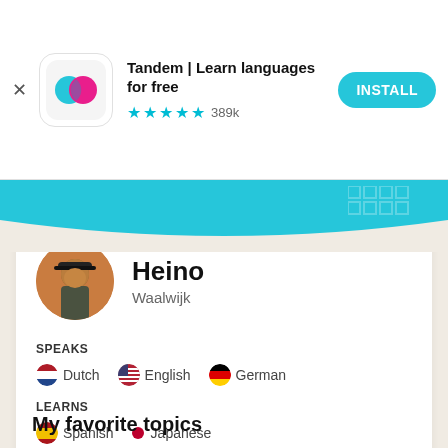[Figure (screenshot): Tandem app install banner with logo, title, star rating, and install button]
[Figure (photo): Profile photo of Heino from Waalwijk, circular crop]
Heino
Waalwijk
SPEAKS
Dutch   English   German
LEARNS
Spanish   Japanese
My favorite topics